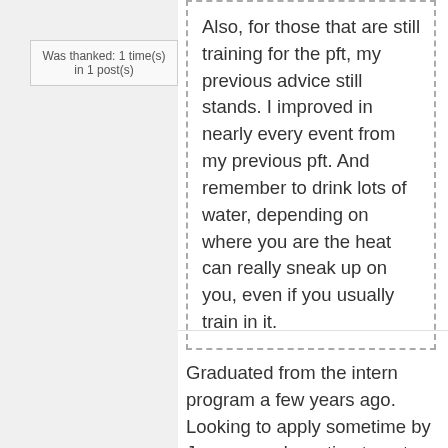Was thanked: 1 time(s) in 1 post(s)
Also, for those that are still training for the pft, my previous advice still stands. I improved in nearly every event from my previous pft. And remember to drink lots of water, depending on where you are the heat can really sneak up on you, even if you usually train in it.
Graduated from the intern program a few years ago. Looking to apply sometime by January and wanting to get a head start on PFT. I've lost about 70 pounds from when I started my weight loss journey, but